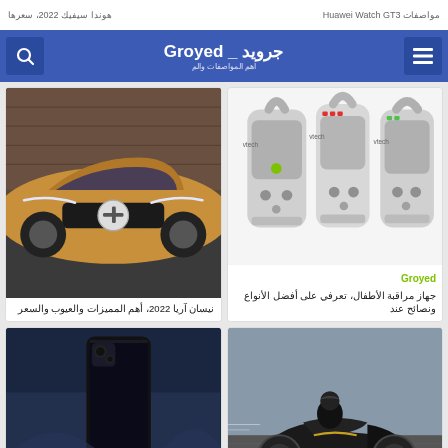هوندا سيفيك 2022، سعرها | Huawei Watch GT3 مواصفات
Groyed _ جرويد
أهم المواصفات والم
[Figure (photo): Three VTech baby monitor devices side by side]
Groyed
جهاز مراقبة الأطفال، تعرفي على أفضل الأنواع ونصائح عند
[Figure (photo): Nissan Ariya 2022 electric SUV front view in bronze color]
نيسان آريا 2022، أهم المميزات والعيوب والسعر
[Figure (photo): Person riding a black sports motorcycle at speed]
[Figure (photo): Vivo smartphone standing upright against blue background]